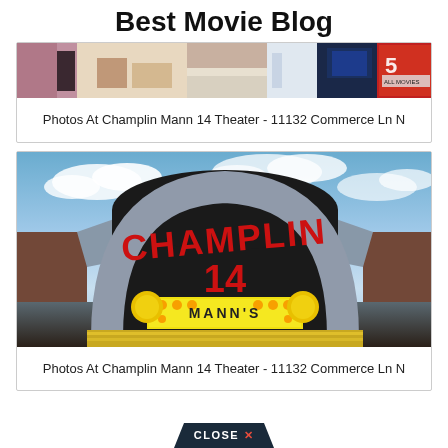Best Movie Blog
[Figure (photo): Interior of Champlin Mann 14 Theater showing lobby area with signage]
Photos At Champlin Mann 14 Theater - 11132 Commerce Ln N
[Figure (photo): Exterior of Champlin Mann 14 Theater showing the large arch sign with CHAMPLIN 14 MANNS lettering against a cloudy sky]
Photos At Champlin Mann 14 Theater - 11132 Commerce Ln N